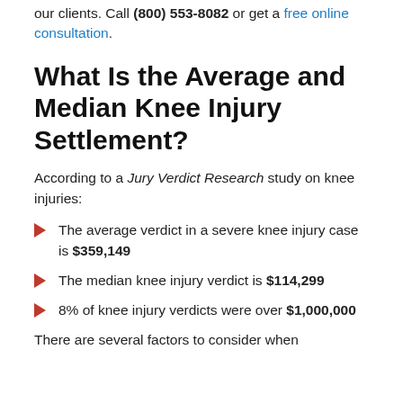our clients. Call (800) 553-8082 or get a free online consultation.
What Is the Average and Median Knee Injury Settlement?
According to a Jury Verdict Research study on knee injuries:
The average verdict in a severe knee injury case is $359,149
The median knee injury verdict is $114,299
8% of knee injury verdicts were over $1,000,000
There are several factors to consider when